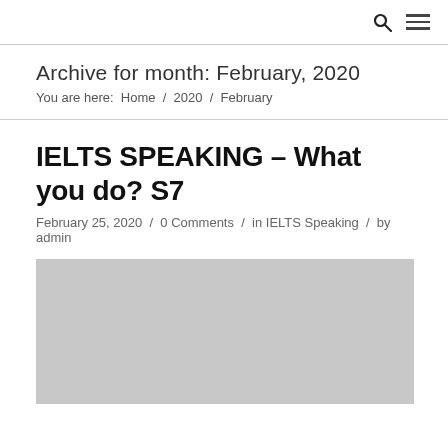Archive for month: February, 2020 — You are here: Home / 2020 / February
IELTS SPEAKING – What you do? S7
February 25, 2020 / 0 Comments / in IELTS Speaking / by admin
[Figure (photo): Gray placeholder image for IELTS Speaking blog post]